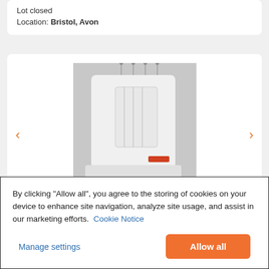Lot closed
Location: Bristol, Avon
[Figure (photo): Photo of a white overlock/serger sewing machine with a black foot pedal and cord on a light grey surface]
By clicking “Allow all”, you agree to the storing of cookies on your device to enhance site navigation, analyze site usage, and assist in our marketing efforts. Cookie Notice
Manage settings
Allow all